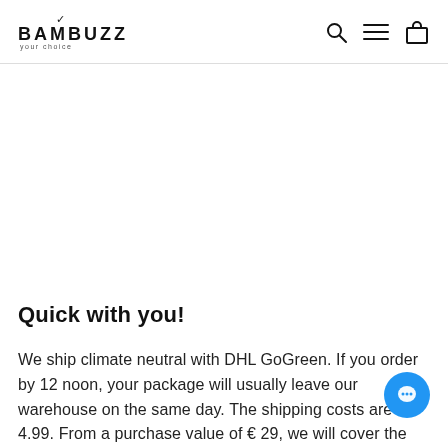BAMBUZZ your choice
Quick with you!
We ship climate neutral with DHL GoGreen. If you order by 12 noon, your package will usually leave our warehouse on the same day. The shipping costs are € 4.99. From a purchase value of € 29, we will cover the costs for you.